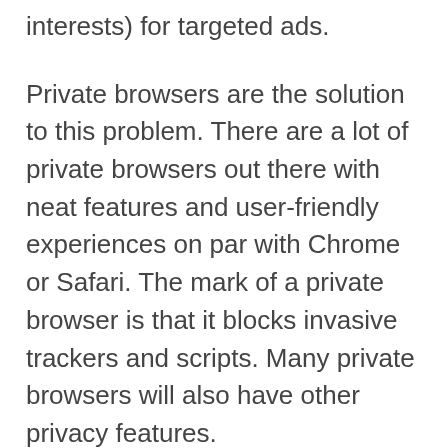interests) for targeted ads.
Private browsers are the solution to this problem. There are a lot of private browsers out there with neat features and user-friendly experiences on par with Chrome or Safari. The mark of a private browser is that it blocks invasive trackers and scripts. Many private browsers will also have other privacy features.
Great options to look at include Brave, Chromium, Tor, and Waterfox. These browsers still support popular search engines like Google and Bing. Although it is possible to switch to a good private search engine, such as DuckDuckGo, as well.